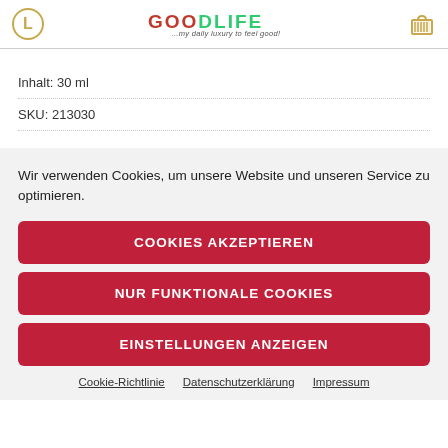GOODLIFE ...my daily luxury to feel good!
Inhalt: 30 ml
SKU: 213030
Wir verwenden Cookies, um unsere Website und unseren Service zu optimieren.
COOKIES AKZEPTIEREN
NUR FUNKTIONALE COOKIES
EINSTELLUNGEN ANZEIGEN
Cookie-Richtlinie   Datenschutzerklärung   Impressum